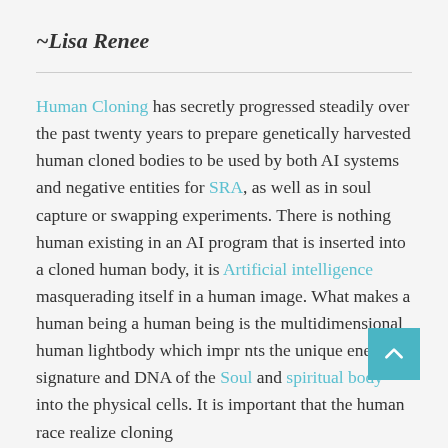~Lisa Renee
Human Cloning has secretly progressed steadily over the past twenty years to prepare genetically harvested human cloned bodies to be used by both AI systems and negative entities for SRA, as well as in soul capture or swapping experiments. There is nothing human existing in an AI program that is inserted into a cloned human body, it is Artificial intelligence masquerading itself in a human image. What makes a human being a human being is the multidimensional human lightbody which imprints the unique energetic signature and DNA of the Soul and spiritual body into the physical cells. It is important that the human race realize cloning